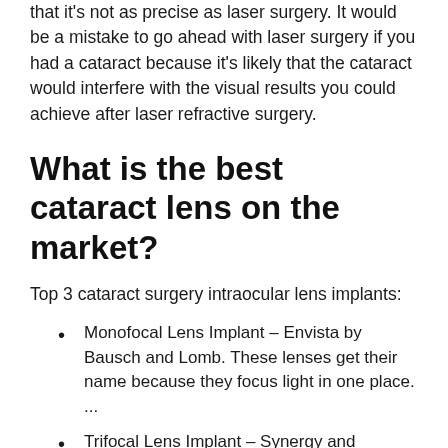that it's not as precise as laser surgery. It would be a mistake to go ahead with laser surgery if you had a cataract because it's likely that the cataract would interfere with the visual results you could achieve after laser refractive surgery.
What is the best cataract lens on the market?
Top 3 cataract surgery intraocular lens implants:
Monofocal Lens Implant – Envista by Bausch and Lomb. These lenses get their name because they focus light in one place. ...
Trifocal Lens Implant – Synergy and